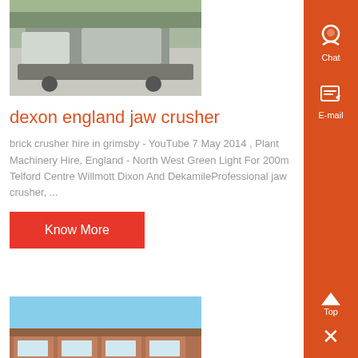[Figure (photo): Photo of a mobile jaw crusher machine on a truck, outdoors.]
dexon england jaw crusher
brick crusher hire in grimsby - YouTube 7 May 2014 , Plant Machinery Hire, England - North West Green Light For 200m Telford Centre Willmott Dixon And DekamileProfessional jaw crusher, ...
Know More
[Figure (photo): Photo of a brick industrial building exterior.]